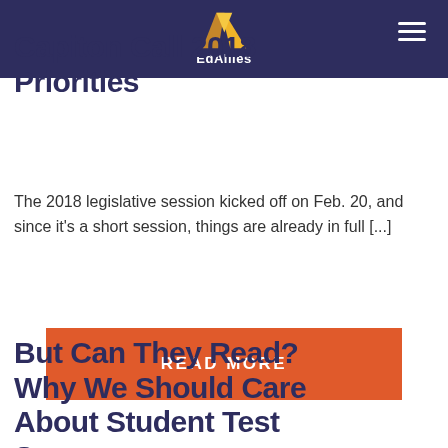EdAllies
Capitol Call 2018 Priorities
The 2018 legislative session kicked off on Feb. 20, and since it's a short session, things are already in full [...]
READ MORE
But Can They Read? Why We Should Care About Student Test S…